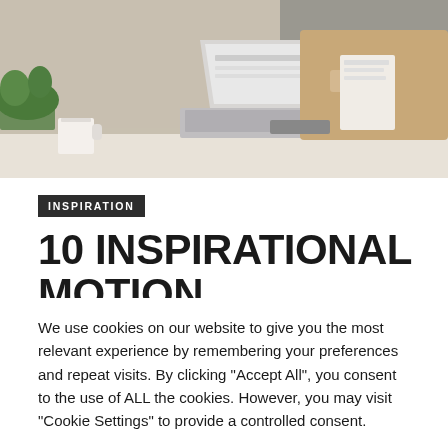[Figure (photo): Woman in beige blazer sitting at desk with laptop, reviewing document, with plant and coffee mug visible]
INSPIRATION
10 INSPIRATIONAL MOTION PICTURES ON GIRLS IN
We use cookies on our website to give you the most relevant experience by remembering your preferences and repeat visits. By clicking "Accept All", you consent to the use of ALL the cookies. However, you may visit "Cookie Settings" to provide a controlled consent.